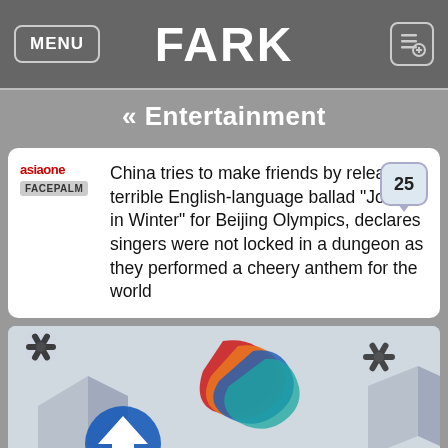FARK
« Entertainment
asiaone FACEPALM  China tries to make friends by releasing terrible English-language ballad "Join Us in Winter" for Beijing Olympics, declares singers were not locked in a dungeon as they performed a cheery anthem for the world  25
[Figure (photo): Beijing 2022 Winter Olympics promotional display showing the Beijing 2022 logo with Olympic rings and colorful decorative elements including snowflakes and geometric patterns, with a blue directional sign visible.]